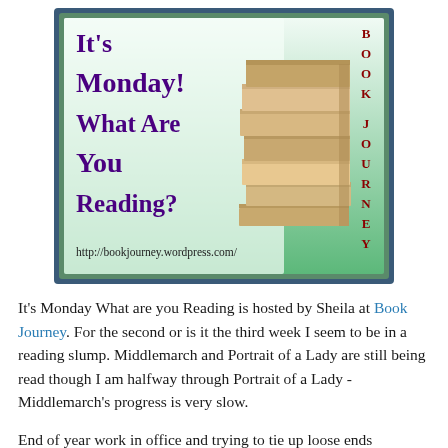[Figure (illustration): Book Journey blog banner image. Green gradient background with dark blue border. Large bold purple text reads 'It's Monday! What Are You Reading?' Stack of books on the right side. Red vertical text 'BOOK JOURNEY' on far right. URL 'http://bookjourney.wordpress.com/' at bottom.]
It's Monday What are you Reading is hosted by Sheila at Book Journey. For the second or is it the third week I seem to be in a reading slump. Middlemarch and Portrait of a Lady are still being read though I am halfway through Portrait of a Lady - Middlemarch's progress is very slow.
End of year work in office and trying to tie up loose ends